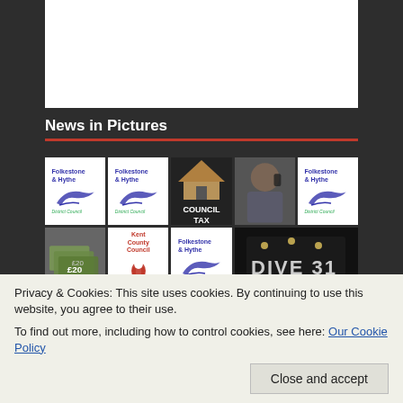[Figure (illustration): Partial white box visible at top, clipped content area]
News in Pictures
[Figure (infographic): Grid of 9 news thumbnail images: Folkestone & Hythe logos (x3), Council Tax image, person on phone, money/calculator, Kent County Council logo, Folkestone & Hythe logo, Dive 31 sign]
Recent Articles
Privacy & Cookies: This site uses cookies. By continuing to use this website, you agree to their use.
To find out more, including how to control cookies, see here: Our Cookie Policy
Michael Stainer makes surprise call to Old Timer's Rally